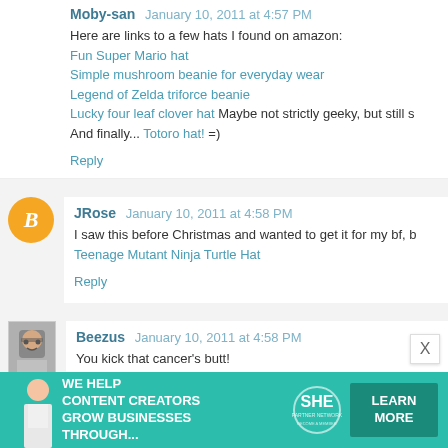Moby-san January 10, 2011 at 4:57 PM
Here are links to a few hats I found on amazon:
Fun Super Mario hat
Simple mushroom beanie for everyday wear
Legend of Zelda triforce beanie
Lucky four leaf clover hat Maybe not strictly geeky, but still s
And finally... Totoro hat! =)
Reply
JRose January 10, 2011 at 4:58 PM
I saw this before Christmas and wanted to get it for my bf, b
Teenage Mutant Ninja Turtle Hat
Reply
Beezus January 10, 2011 at 4:58 PM
You kick that cancer's butt!
Monter Head Hugger
amazing beanies
Reply
[Figure (infographic): SHE Partner Network advertisement banner: WE HELP CONTENT CREATORS GROW BUSINESSES THROUGH... with SHE logo and LEARN MORE button]